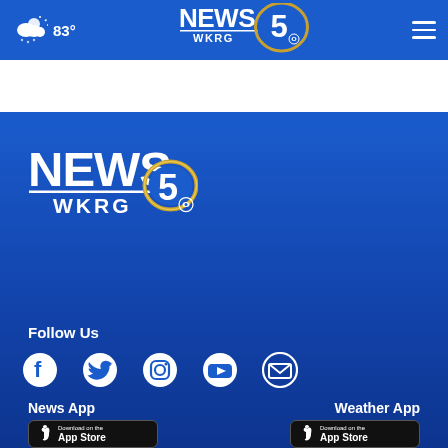83° NEWS 5 WKRG
[Figure (logo): WKRG News 5 CBS logo in footer - white NEWS text with gold 5 oval and CBS eye]
Follow Us
[Figure (infographic): Social media icons: Facebook, Twitter, Instagram, YouTube, Email]
News App
Weather App
[Figure (screenshot): Download on the App Store badge for News App]
[Figure (screenshot): Download on the App Store badge for Weather App]